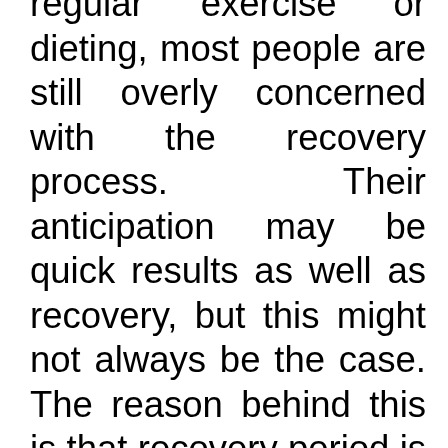regular exercise or dieting, most people are still overly concerned with the recovery process. Their anticipation may be quick results as well as recovery, but this might not always be the case. The reason behind this is that recovery period is highly dependent on the surgery technique used, body part that is undergoing treatment but also the